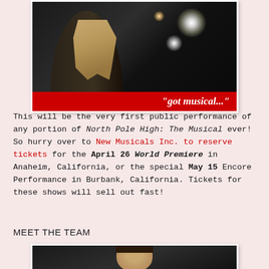[Figure (photo): Dark stage photo of a person with blonde hair in silhouette against stage spotlights, with a red banner at the bottom reading "got musical..." in white italic text]
This will be the very first public performance of any portion of North Pole High: The Musical ever! So hurry over to New Musicals Inc. to reserve tickets for the April 26 World Premiere in Anaheim, California, or the special May 15 Encore Performance in Burbank, California. Tickets for these shows will sell out fast!
MEET THE TEAM
[Figure (photo): Headshot photo of a person with dark hair against a dark background]